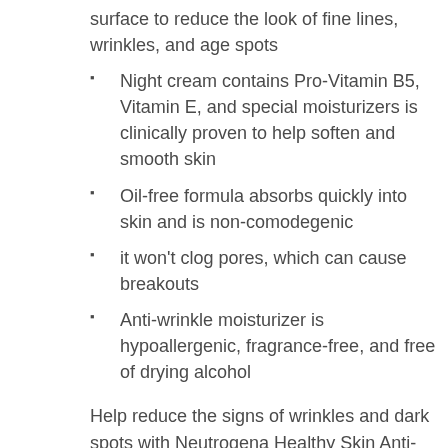surface to reduce the look of fine lines, wrinkles, and age spots
Night cream contains Pro-Vitamin B5, Vitamin E, and special moisturizers is clinically proven to help soften and smooth skin
Oil-free formula absorbs quickly into skin and is non-comodegenic
it won't clog pores, which can cause breakouts
Anti-wrinkle moisturizer is hypoallergenic, fragrance-free, and free of drying alcohol
Help reduce the signs of wrinkles and dark spots with Neutrogena Healthy Skin Anti-Wrinkle Night Cream. This moisturizing anti-winkle night cream is clinically proven to visibly reduce the appearance of fine lines, wrinkles, and other signs of aging while rejuvenating your skin. The formula contains retinol, a pure form of vitamin A, and